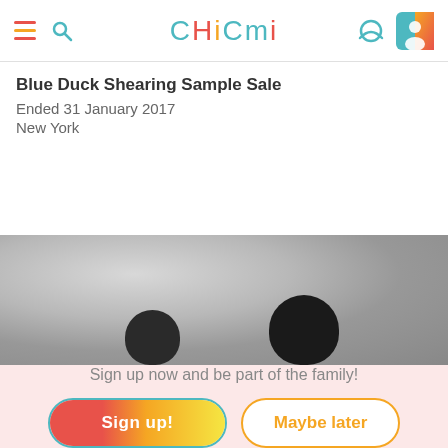CHICMI
Blue Duck Shearing Sample Sale
Ended 31 January 2017
New York
[Figure (photo): Black and white foggy/misty photo with two silhouetted heads visible at the bottom]
Sign up now and be part of the family!
Sign up!
Maybe later